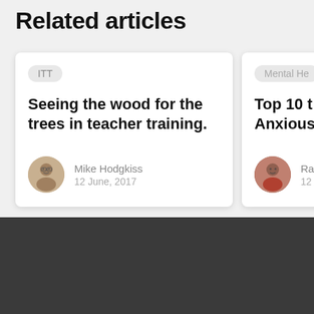Related articles
ITT
Seeing the wood for the trees in teacher training.
Mike Hodgkiss
12 June, 2017
Mental He
Top 10 t
Anxious
Ra
12
Get industry insights and job notifications